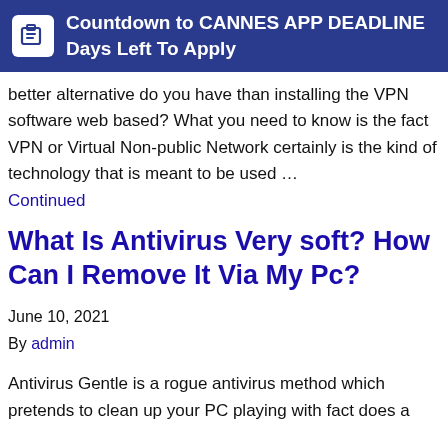Countdown to CANNES APP DEADLINE Days Left To Apply
better alternative do you have than installing the VPN software web based? What you need to know is the fact VPN or Virtual Non-public Network certainly is the kind of technology that is meant to be used …
Continued
What Is Antivirus Very soft? How Can I Remove It Via My Pc?
June 10, 2021
By admin
Antivirus Gentle is a rogue antivirus method which pretends to clean up your PC playing with fact does a